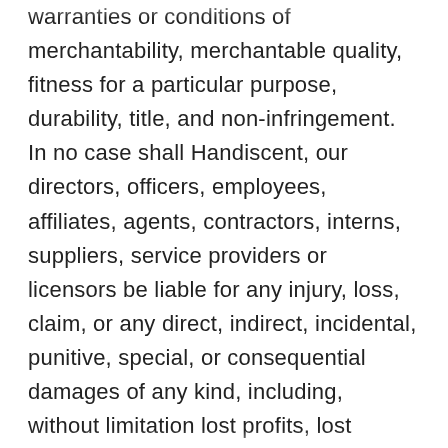warranties or conditions of merchantability, merchantable quality, fitness for a particular purpose, durability, title, and non-infringement. In no case shall Handiscent, our directors, officers, employees, affiliates, agents, contractors, interns, suppliers, service providers or licensors be liable for any injury, loss, claim, or any direct, indirect, incidental, punitive, special, or consequential damages of any kind, including, without limitation lost profits, lost revenue, lost savings, loss of data, replacement costs, or any similar damages, whether based in contract, tort (including negligence), strict liability or otherwise, arising from your use of any of the service or any products procured using the service, or for any other claim related in any way to your use of the service or any product, including, but not limited to, any errors or omissions in any content,